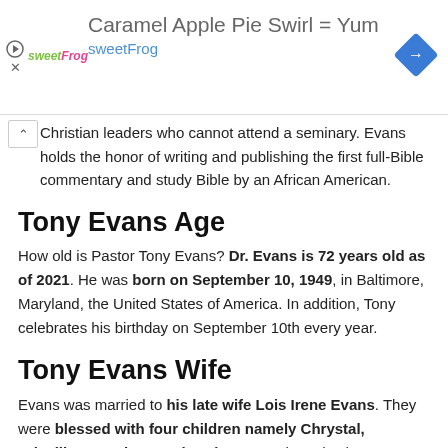[Figure (other): SweetFrog advertisement banner: logo on left, large text 'Caramel Apple Pie Swirl = Yum' with 'sweetFrog' subtitle, blue diamond navigation icon on right]
Christian leaders who cannot attend a seminary. Evans holds the honor of writing and publishing the first full-Bible commentary and study Bible by an African American.
Tony Evans Age
How old is Pastor Tony Evans? Dr. Evans is 72 years old as of 2021. He was born on September 10, 1949, in Baltimore, Maryland, the United States of America. In addition, Tony celebrates his birthday on September 10th every year.
Tony Evans Wife
Evans was married to his late wife Lois Irene Evans. They were blessed with four children namely Chrystal, Priscilla, Jonathan, and Anthony Jr. They also have 13